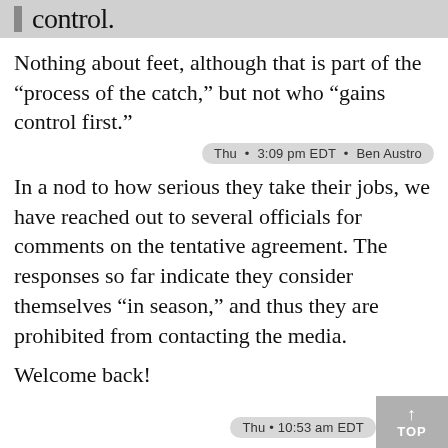control.
Nothing about feet, although that is part of the “process of the catch,” but not who “gains control first.”
Thu • 3:09 pm EDT • Ben Austro
In a nod to how serious they take their jobs, we have reached out to several officials for comments on the tentative agreement. The responses so far indicate they consider themselves “in season,” and thus they are prohibited from contacting the media.
Welcome back!
Thu • 10:53 am EDT